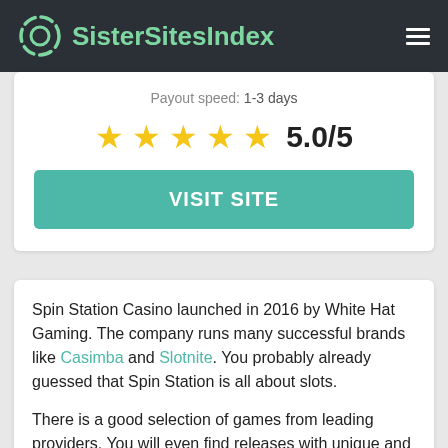SisterSitesIndex
Payout speed: 1-3 days
[Figure (other): Five gold stars rating display showing 5.0/5]
VISIT SITE
Spin Station Casino launched in 2016 by White Hat Gaming. The company runs many successful brands like Casimba and Slotnite. You probably already guessed that Spin Station is all about slots.
There is a good selection of games from leading providers. You will even find releases with unique and rare software. There are over 700+ games at